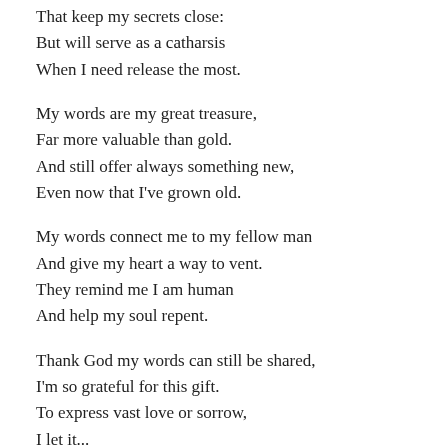That keep my secrets close:
But will serve as a catharsis
When I need release the most.
My words are my great treasure,
Far more valuable than gold.
And still offer always something new,
Even now that I've grown old.
My words connect me to my fellow man
And give my heart a way to vent.
They remind me I am human
And help my soul repent.
Thank God my words can still be shared,
I'm so grateful for this gift.
To express vast love or sorrow,
I let it...